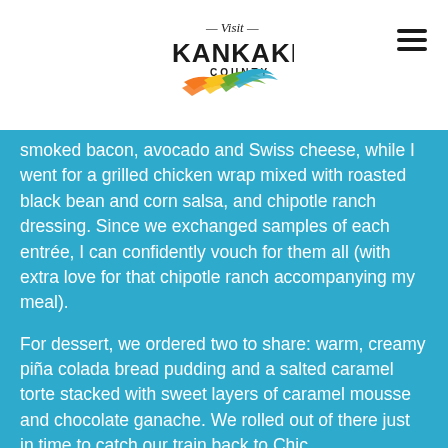[Figure (logo): Visit Kankakee County logo with colorful swoosh design in orange, yellow, and green/blue]
smoked bacon, avocado and Swiss cheese, while I went for a grilled chicken wrap mixed with roasted black bean and corn salsa, and chipotle ranch dressing. Since we exchanged samples of each entrée, I can confidently vouch for them all (with extra love for that chipotle ranch accompanying my meal).
For dessert, we ordered two to share: warm, creamy piña colada bread pudding and a salted caramel torte stacked with sweet layers of caramel mousse and chocolate ganache. We rolled out of there just in time to catch our train back to Chic...